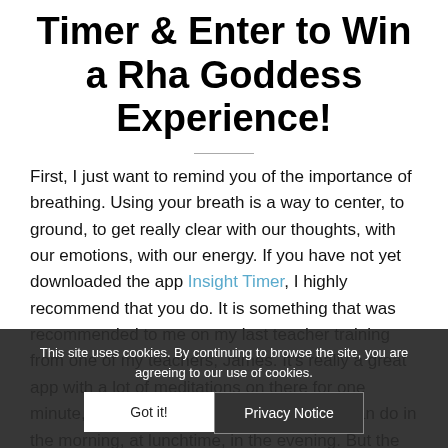Timer & Enter to Win a Rha Goddess Experience!
First, I just want to remind you of the importance of breathing. Using your breath is a way to center, to ground, to get really clear with our thoughts, with our emotions, with our energy. If you have not yet downloaded the app Insight Timer, I highly recommend that you do. It is something that was recommended to me on my last teacher training from one of my teachers, James. It's really a great app with a lot of meditations on there for one minute, two minutes, meditations that you can do in the morning, at lunchtime, in the evening. But the pranayama is everything. Don't hold your breath.
This site uses cookies. By continuing to browse the site, you are agreeing to our use of cookies.
Got it!
Privacy Notice